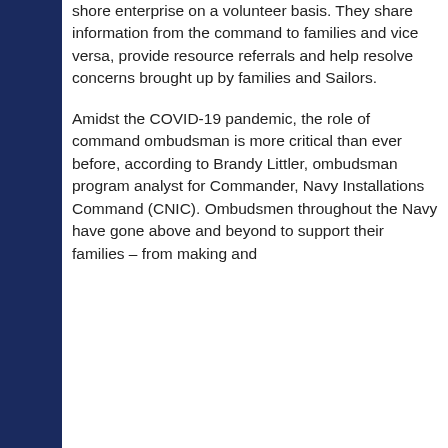shore enterprise on a volunteer basis. They share information from the command to families and vice versa, provide resource referrals and help resolve concerns brought up by families and Sailors.
Amidst the COVID-19 pandemic, the role of command ombudsman is more critical than ever before, according to Brandy Littler, ombudsman program analyst for Commander, Navy Installations Command (CNIC). Ombudsmen throughout the Navy have gone above and beyond to support their families – from making and